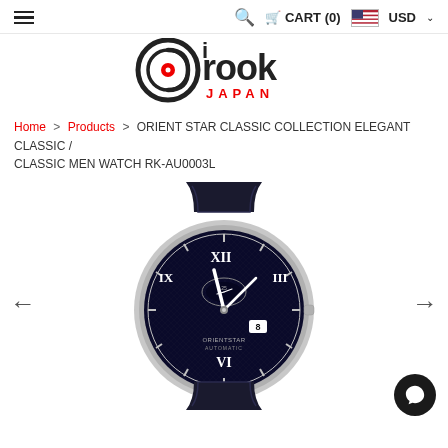≡  🔍 CART (0)  🇺🇸 USD ∨
[Figure (logo): iRook Japan logo: circular swirl icon in black and red with text 'irook' in bold black lowercase and 'JAPAN' in red capitals below]
Home > Products > ORIENT STAR CLASSIC COLLECTION ELEGANT CLASSIC / CLASSIC MEN WATCH RK-AU0003L
[Figure (photo): Photo of Orient Star Classic Collection Elegant Classic men's watch RK-AU0003L with dark navy blue dial, Roman numerals, power reserve sub-dial, date window, silver-tone case, and black crocodile-pattern leather strap]